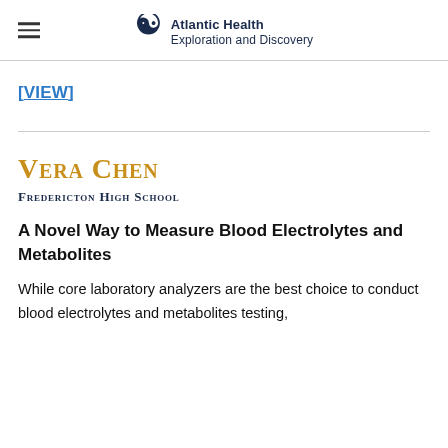Atlantic Health Exploration and Discovery
[VIEW]
Vera Chen
Fredericton High School
A Novel Way to Measure Blood Electrolytes and Metabolites
While core laboratory analyzers are the best choice to conduct blood electrolytes and metabolites testing,